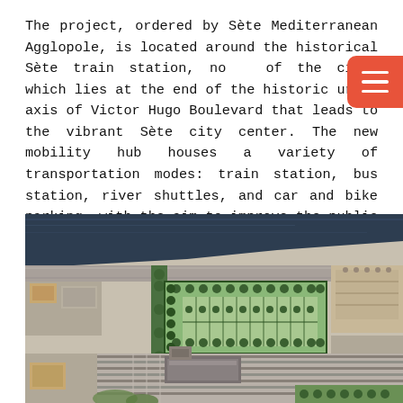The project, ordered by Sète Mediterranean Agglopole, is located around the historical Sète train station, north of the city, which lies at the end of the historic urban axis of Victor Hugo Boulevard that leads to the vibrant Sète city center. The new mobility hub houses a variety of transportation modes: train station, bus station, river shuttles, and car and bike parking, with the aim to improve the public realm for residents, businesses, and travelers.
[Figure (other): Aerial/plan view of the Sète train station mobility hub project area, showing railway tracks, green landscaping areas with trees, parking zones, and surrounding urban infrastructure.]